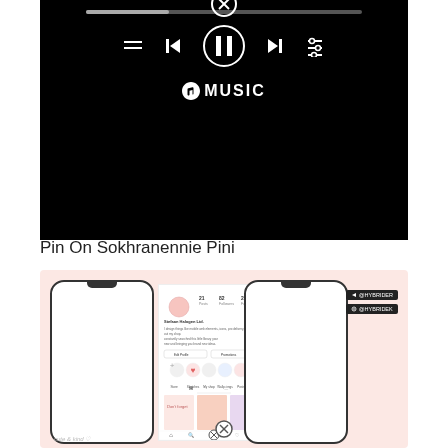[Figure (screenshot): Apple Music player interface on black background showing progress bar, playback controls (menu, previous, pause, next, equalizer), close button circle at top of pause button, and Apple Music logo]
Pin On Sokhranennie Pini
[Figure (screenshot): Two iPhone mockups on pink/blush background with a middle screen showing an Instagram-style profile page. Social media handles shown on right side. Close button at bottom center. Small logo at bottom left.]